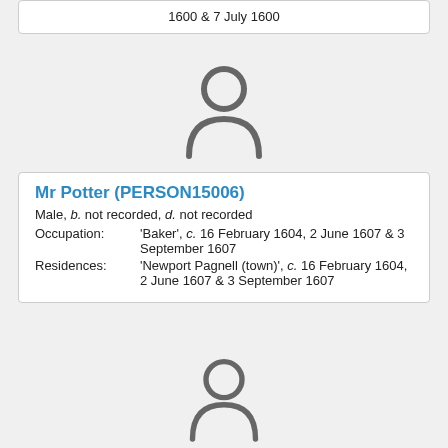1600 & 7 July 1600
[Figure (illustration): Generic person silhouette icon (gray), top position]
Mr Potter (PERSON15006)
Male, b. not recorded, d. not recorded
Occupation: 'Baker', c. 16 February 1604, 2 June 1607 & 3 September 1607
Residences: 'Newport Pagnell (town)', c. 16 February 1604, 2 June 1607 & 3 September 1607
[Figure (illustration): Generic person silhouette icon (gray), bottom position]